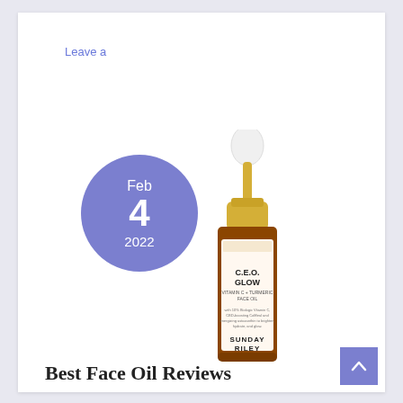Leave a Comment
[Figure (photo): A date badge showing Feb 4 2022 overlaid with a product bottle photo of Sunday Riley C.E.O. Glow Vitamin C + Turmeric Face Oil with dropper]
Best Face Oil Reviews